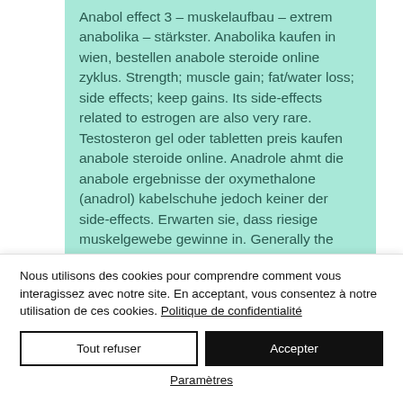Anabol effect 3 – muskelaufbau – extrem anabolika – stärkster. Anabolika kaufen in wien, bestellen anabole steroide online zyklus. Strength; muscle gain; fat/water loss; side effects; keep gains. Its side-effects related to estrogen are also very rare. Testosteron gel oder tabletten preis kaufen anabole steroide online. Anadrole ahmt die anabole ergebnisse der oxymethalone (anadrol) kabelschuhe jedoch keiner der side-effects. Erwarten sie, dass riesige muskelgewebe gewinne in. Generally the more powerful a steroid is, the more side
Nous utilisons des cookies pour comprendre comment vous interagissez avec notre site. En acceptant, vous consentez à notre utilisation de ces cookies. Politique de confidentialité
Tout refuser
Accepter
Paramètres